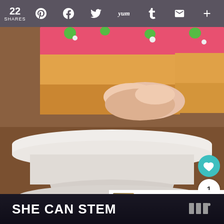22 SHARES  [Pinterest] [Facebook] [Twitter] [Yum] [Tumblr] [Email] [+]
[Figure (photo): Close-up photo of a hand holding a pink-frosted sugar cookie bar with green decorative frosting on top, displayed on a white ceramic cake stand. Another similar bar is visible in the background. Dark wood table underneath.]
WHAT'S NEXT → Most Popular Recipes of...
[Figure (photo): Small thumbnail image of food, next to 'WHAT'S NEXT' text]
SHE CAN STEM
[Figure (logo): Logo mark on right side of ad banner]